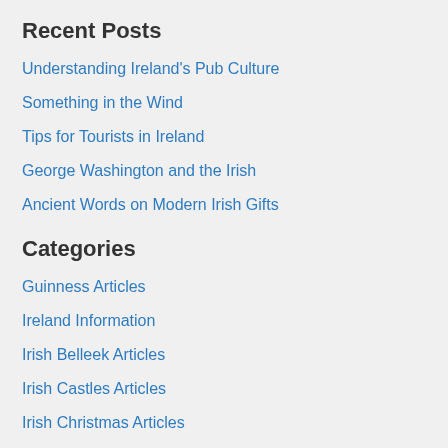Recent Posts
Understanding Ireland's Pub Culture
Something in the Wind
Tips for Tourists in Ireland
George Washington and the Irish
Ancient Words on Modern Irish Gifts
Categories
Guinness Articles
Ireland Information
Irish Belleek Articles
Irish Castles Articles
Irish Christmas Articles
Irish Clothing Articles